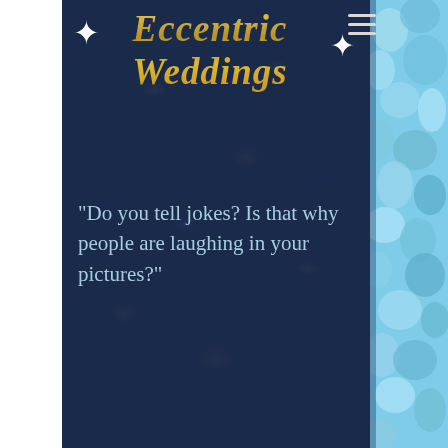Eccentric Weddings
"Do you tell jokes? Is that why people are laughing in your pictures?"